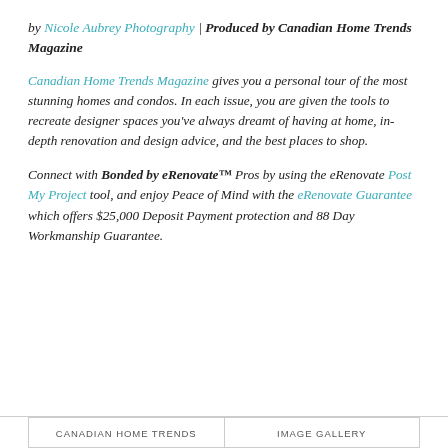by Nicole Aubrey Photography | Produced by Canadian Home Trends Magazine
Canadian Home Trends Magazine gives you a personal tour of the most stunning homes and condos. In each issue, you are given the tools to recreate designer spaces you've always dreamt of having at home, in-depth renovation and design advice, and the best places to shop.
Connect with Bonded by eRenovate™ Pros by using the eRenovate Post My Project tool, and enjoy Peace of Mind with the eRenovate Guarantee which offers $25,000 Deposit Payment protection and 88 Day Workmanship Guarantee.
CANADIAN HOME TRENDS   IMAGE GALLERY